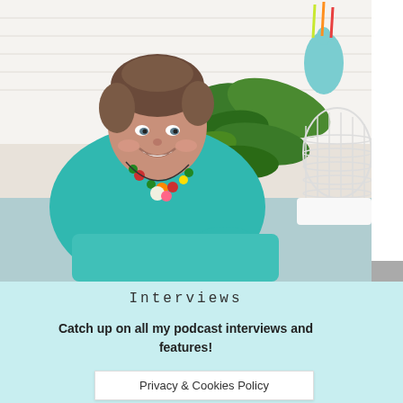[Figure (photo): A smiling woman with short brown hair wearing a teal top and colorful beaded necklace, leaning forward. Background shows a large green plant and a white decorative lamp/basket. Bright, casual home setting.]
Interviews
Catch up on all my podcast interviews and features!
Privacy & Cookies Policy